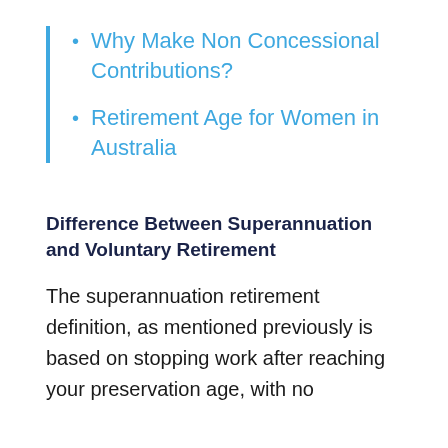Why Make Non Concessional Contributions?
Retirement Age for Women in Australia
Difference Between Superannuation and Voluntary Retirement
The superannuation retirement definition, as mentioned previously is based on stopping work after reaching your preservation age, with no